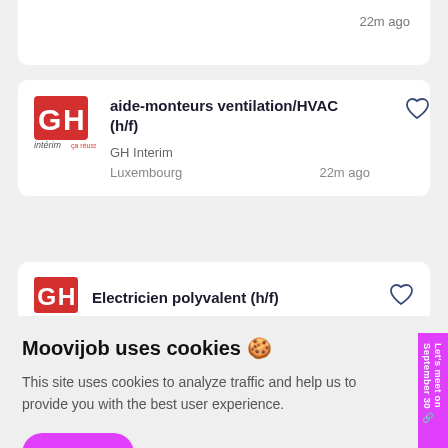[Figure (logo): GH Intérim logo - red square with white GH letters, 'intérim' text below]
aide-monteurs ventilation/HVAC (h/f)
GH Interim
Luxembourg
22m ago
[Figure (logo): GH Intérim logo partial]
Electricien polyvalent (h/f)
Moovijob uses cookies 🍪
This site uses cookies to analyze traffic and help us to provide you with the best user experience.
I accept
More information
Let's meet on September 30